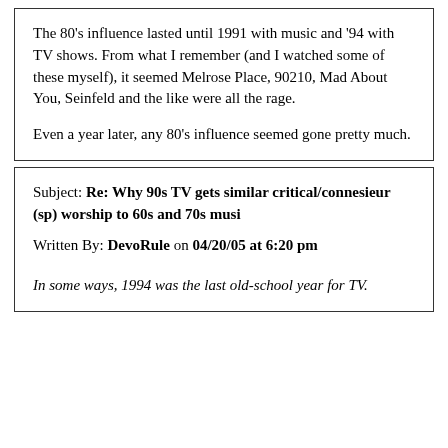The 80's influence lasted until 1991 with music and '94 with TV shows. From what I remember (and I watched some of these myself), it seemed Melrose Place, 90210, Mad About You, Seinfeld and the like were all the rage.
Even a year later, any 80's influence seemed gone pretty much.
Subject: Re: Why 90s TV gets similar critical/connesieur (sp) worship to 60s and 70s musi
Written By: DevoRule on 04/20/05 at 6:20 pm
In some ways, 1994 was the last old-school year for TV.